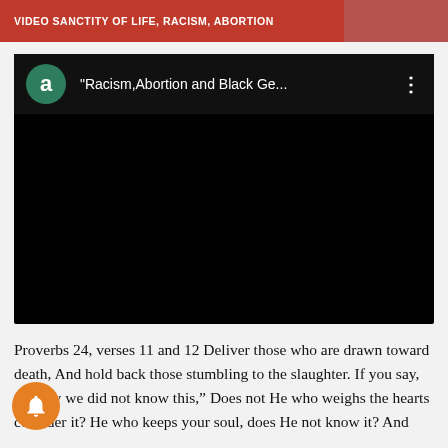VIDEO SANCTITY OF LIFE, RACISM, ABORTION
[Figure (screenshot): YouTube-style video player with black screen, green avatar circle with letter 'a', title 'Racism,Abortion and Black Ge...' and three-dot menu]
Proverbs 24, verses 11 and 12 Deliver those who are drawn toward death, And hold back those stumbling to the slaughter. If you say, “Surely we did not know this,” Does not He who weighs the hearts consider it? He who keeps your soul, does He not know it? And